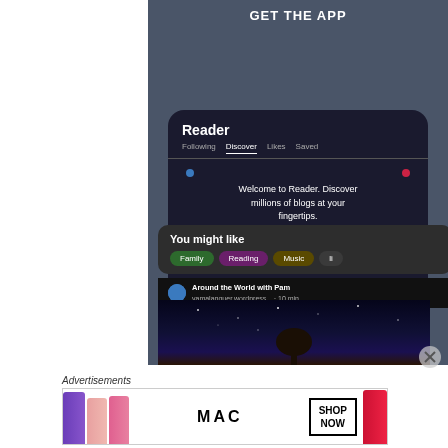GET THE APP
[Figure (screenshot): Mobile app screenshot showing the WordPress Reader app interface with 'Reader' heading, tabs (Following, Discover, Likes, Saved), a welcome message 'Welcome to Reader. Discover millions of blogs at your fingertips.', a 'You might like' section with category tags (Family, Reading, Music), and a blog entry 'Around the World with Pam' from yamalanquer.wordpress.com with a night sky and tree silhouette image.]
Advertisements
[Figure (photo): MAC Cosmetics advertisement banner showing lipsticks in purple, peach, and pink colors on the left, MAC logo text in the center, a 'SHOP NOW' button in a bordered box, and a red lipstick on the right.]